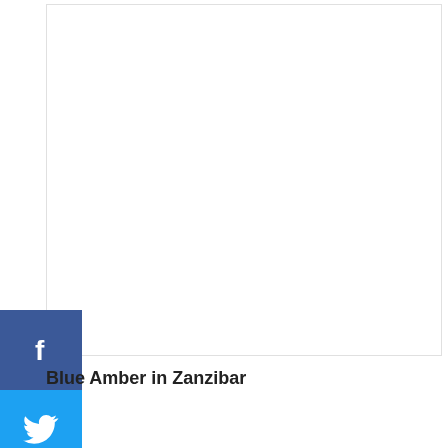[Figure (photo): A large white/blank image placeholder with a light border, likely showing Blue Amber in Zanzibar]
[Figure (infographic): Social media share buttons: Facebook (blue, f icon), Twitter (light blue, bird icon), Pinterest (red, p icon), LinkedIn (blue, in icon)]
Blue Amber in Zanzibar